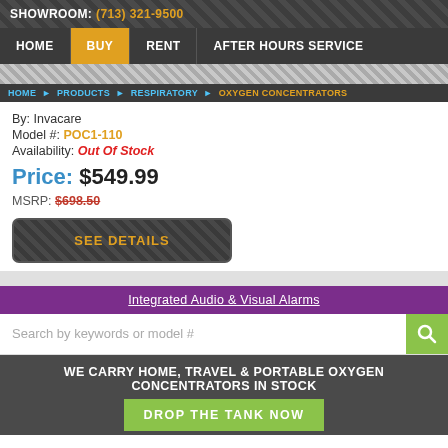SHOWROOM: (713) 321-9500
HOME | BUY | RENT | AFTER HOURS SERVICE
HOME > PRODUCTS > RESPIRATORY > OXYGEN CONCENTRATORS
By: Invacare
Model #: POC1-110
Availability: Out Of Stock
Price: $549.99
MSRP: $698.50
SEE DETAILS
Integrated Audio & Visual Alarms
Search by keywords or model #
WE CARRY HOME, TRAVEL & PORTABLE OXYGEN CONCENTRATORS IN STOCK
DROP THE TANK NOW